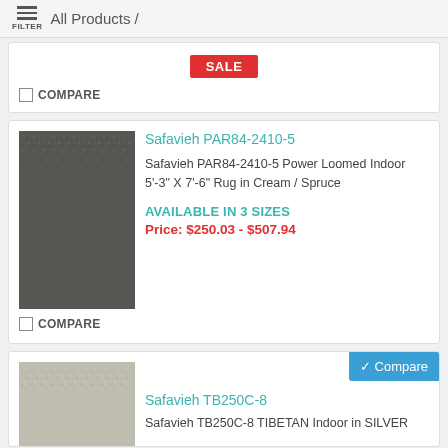FILTER / All Products /
SALE
☐ COMPARE
[Figure (photo): Safavieh PAR84-2410-5 rug in Cream/Spruce, grey-green textured pattern]
Safavieh PAR84-2410-5
Safavieh PAR84-2410-5 Power Loomed Indoor 5'-3" X 7'-6" Rug in Cream / Spruce
AVAILABLE IN 3 SIZES
Price: $250.03 - $507.94
☐ COMPARE
[Figure (photo): Safavieh TB250C-8 TIBETAN rug in SILVER, beige/silver textured pattern]
Compare
Safavieh TB250C-8
Safavieh TB250C-8 TIBETAN Indoor in SILVER